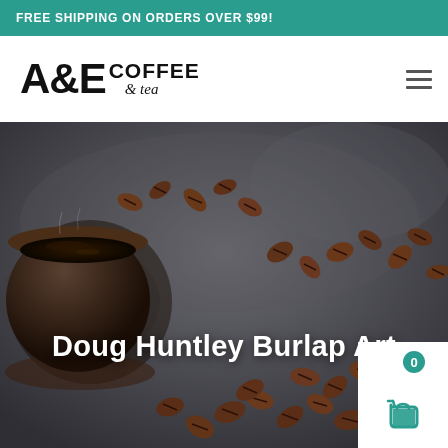FREE SHIPPING ON ORDERS OVER $99!
[Figure (logo): A&E Coffee & Tea logo in bold black text]
[Figure (photo): Hero banner showing coffee beans scattered on a dark slate surface with a black coffee cup, overlaid with text 'Doug Huntley Burlap Art']
Doug Huntley Burlap Art